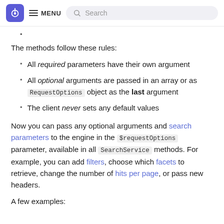MENU | Search
•
The methods follow these rules:
All required parameters have their own argument
All optional arguments are passed in an array or as RequestOptions object as the last argument
The client never sets any default values
Now you can pass any optional arguments and search parameters to the engine in the $requestOptions parameter, available in all SearchService methods. For example, you can add filters, choose which facets to retrieve, change the number of hits per page, or pass new headers.
A few examples: